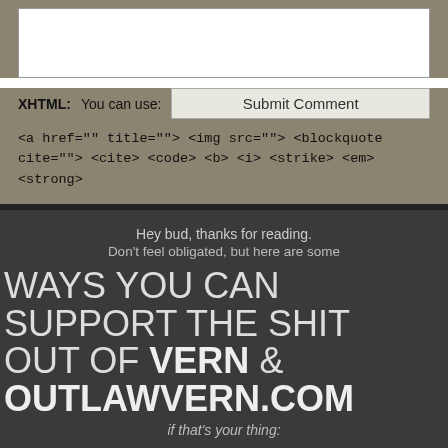[textarea comment box]
XHTML: You can use:
Submit Comment
<a href="" title=""> <img src=""> <blockquote cite=""> <cite> <code> <b> <i> <strike> <em> <strong>
Hey bud, thanks for reading.
Don't feel obligated, but here are some
WAYS YOU CAN SUPPORT THE SHIT OUT OF VERN & OUTLAWVERN.COM
if that's your thing:
1. Patreon
[Figure (illustration): Patreon Exclusives advertisement image with the Twilight saga theme, styled like a vintage ad with rounded rectangle border on a tan/beige background.]